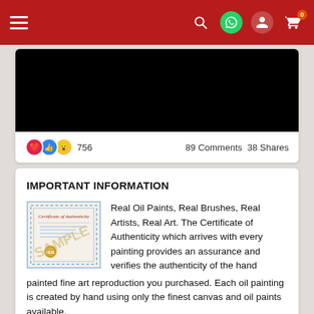Navigation bar with hamburger menu, search, WhatsApp, user, and cart icons
[Figure (screenshot): Black video thumbnail embedded in a white social media card]
756   89 Comments   38 Shares
IMPORTANT INFORMATION
[Figure (photo): Certificate of Authenticity sample document with blue border and gold seal watermarked with SAMPLE]
Real Oil Paints, Real Brushes, Real Artists, Real Art. The Certificate of Authenticity which arrives with every painting provides an assurance and verifies the authenticity of the hand painted fine art reproduction you purchased. Each oil painting is created by hand using only the finest canvas and oil paints available.